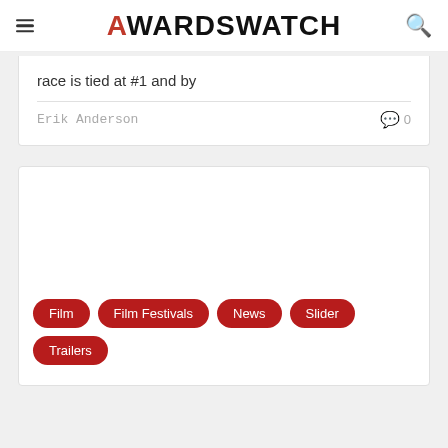AWARDSWATCH
race is tied at #1 and by
Erik Anderson
0
Film
Film Festivals
News
Slider
Trailers